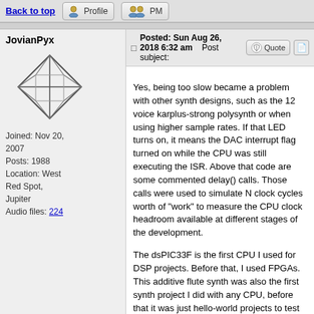Back to top
Profile   PM
JovianPyx
[Figure (illustration): Avatar: geometric 3D diamond/octahedron wireframe illustration in grey]
Joined: Nov 20, 2007
Posts: 1988
Location: West Red Spot, Jupiter
Audio files: 224
Posted: Sun Aug 26, 2018 6:32 am   Post subject:
Yes, being too slow became a problem with other synth designs, such as the 12 voice karplus-strong polysynth or when using higher sample rates. If that LED turns on, it means the DAC interrupt flag turned on while the CPU was still executing the ISR. Above that code are some commented delay() calls. Those calls were used to simulate N clock cycles worth of "work" to measure the CPU clock headroom available at different stages of the development.
The dsPIC33F is the first CPU I used for DSP projects. Before that, I used FPGAs. This additive flute synth was also the first synth project I did with any CPU, before that it was just hello-world projects to test and prove that driver code for different dsPIC peripherals works properly.
And why not ASM? In fact, synth designs I did after this were written entirely in ASM because it was faster than the code C compiled into. 40 MIPS may sound like a lot until you start doing polysynths.
FPGA, dsPIC and Fatman Synth Stuff